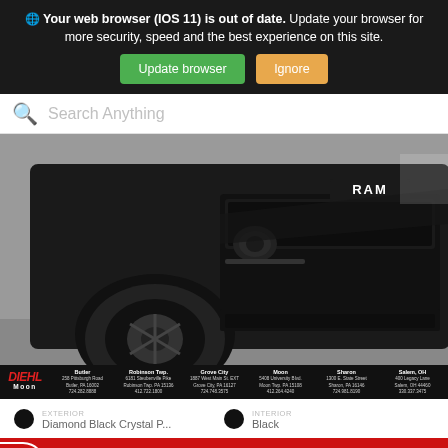🌐 Your web browser (IOS 11) is out of date. Update your browser for more security, speed and the best experience on this site.
Update browser | Ignore
Search Anything
[Figure (photo): Front view of a black RAM pickup truck (Diehl dealership vehicle) on a showroom floor. The truck has all-black exterior, black off-road wheels/tires, and RAM grille badge. Diehl Auto Group dealership contact bar overlaid at bottom of image showing locations: Butler, Robinson Twp., Grove City, Moon, Sharon, Salem OH.]
EXTERIOR Diamond Black Crystal P... | INTERIOR Black
Filter 547 Results ^